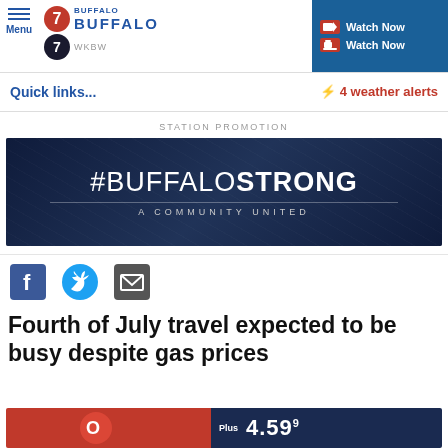Menu | 7 Buffalo WKBW | Watch Now | Watch Now
Quick links...
⚡ 4 weather alerts
STATION PROMOTION
[Figure (illustration): #BUFFALO STRONG - A COMMUNITY UNITED banner on dark blue background]
Fourth of July travel expected to be busy despite gas prices
[Figure (photo): Gas price sign showing Plus 4.59 9/10]